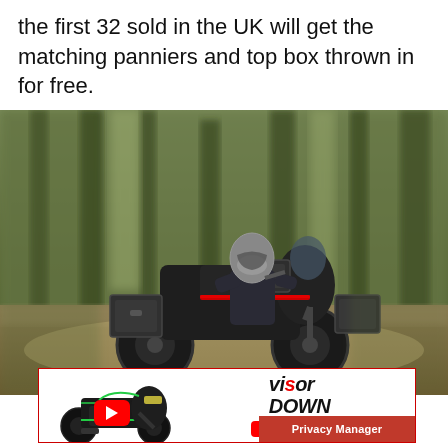the first 32 sold in the UK will get the matching panniers and top box thrown in for free.
[Figure (photo): Motorcyclist riding an adventure motorcycle with panniers and top box through a forest trail at speed, motion blur on background trees.]
[Figure (screenshot): Advertisement banner for Visordown YouTube channel featuring a Kawasaki Z H2 motorcycle with YouTube play button overlay, Visordown logo and YouTube text, with a Privacy Manager button at bottom right and close X button.]